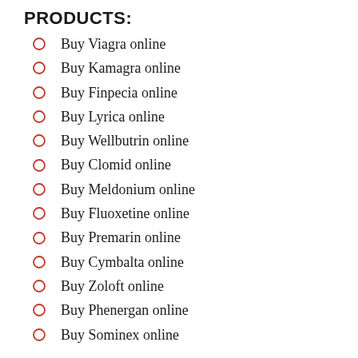PRODUCTS:
Buy Viagra online
Buy Kamagra online
Buy Finpecia online
Buy Lyrica online
Buy Wellbutrin online
Buy Clomid online
Buy Meldonium online
Buy Fluoxetine online
Buy Premarin online
Buy Cymbalta online
Buy Zoloft online
Buy Phenergan online
Buy Sominex online